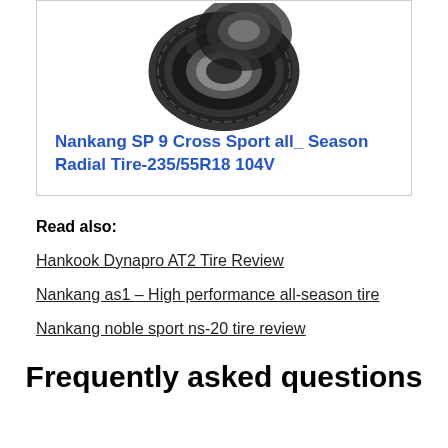[Figure (photo): Black tire (Nankang SP 9 Cross Sport) shown from a stylized angle against white background]
Nankang SP 9 Cross Sport all_ Season Radial Tire-235/55R18 104V
Read also:
Hankook Dynapro AT2 Tire Review
Nankang as1 – High performance all-season tire
Nankang noble sport ns-20 tire review
Frequently asked questions